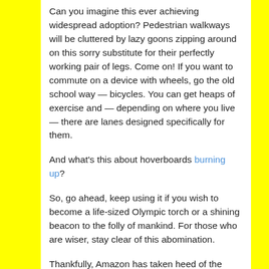Can you imagine this ever achieving widespread adoption? Pedestrian walkways will be cluttered by lazy goons zipping around on this sorry substitute for their perfectly working pair of legs. Come on! If you want to commute on a device with wheels, go the old school way — bicycles. You can get heaps of exercise and — depending on where you live — there are lanes designed specifically for them.
And what's this about hoverboards burning up?
So, go ahead, keep using it if you wish to become a life-sized Olympic torch or a shining beacon to the folly of mankind. For those who are wiser, stay clear of this abomination.
Thankfully, Amazon has taken heed of the dangers of the hoverboard and has started removing some brands from its site.
2.  SMARTPHONES WITH 8/16GB MEMORY AND NO